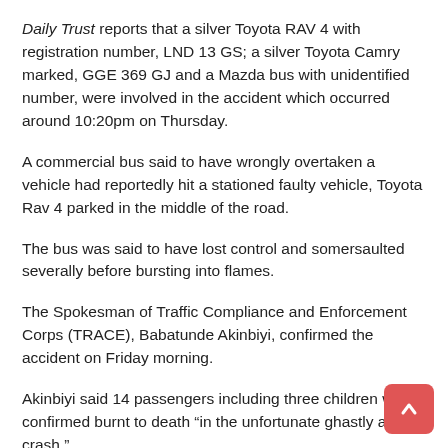Daily Trust reports that a silver Toyota RAV 4 with registration number, LND 13 GS; a silver Toyota Camry marked, GGE 369 GJ and a Mazda bus with unidentified number, were involved in the accident which occurred around 10:20pm on Thursday.
A commercial bus said to have wrongly overtaken a vehicle had reportedly hit a stationed faulty vehicle, Toyota Rav 4 parked in the middle of the road.
The bus was said to have lost control and somersaulted severally before bursting into flames.
The Spokesman of Traffic Compliance and Enforcement Corps (TRACE), Babatunde Akinbiyi, confirmed the accident on Friday morning.
Akinbiyi said 14 passengers including three children were confirmed burnt to death “in the unfortunate ghastly auto crash.”
“In all, 17 passengers were in the bus when the crash happened, with three seriously injured, and 14 burnt beyond recognition, among